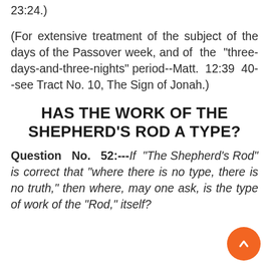23:24.)
(For extensive treatment of the subject of the days of the Passover week, and of the "three-days-and-three-nights" period--Matt. 12:39 40--see Tract No. 10, The Sign of Jonah.)
HAS THE WORK OF THE SHEPHERD'S ROD A TYPE?
Question No. 52:---If "The Shepherd's Rod" is correct that "where there is no type, there is no truth," then where, may one ask, is the type of work of the "Rod," itself?